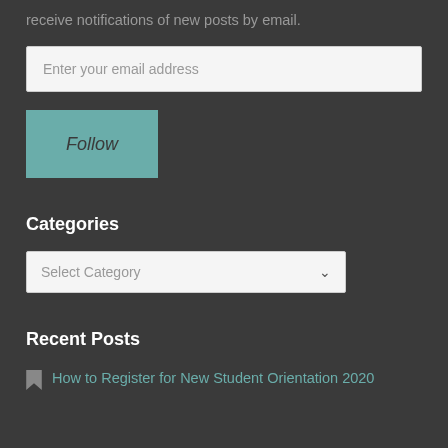receive notifications of new posts by email.
[Figure (screenshot): Email input field with placeholder text 'Enter your email address']
[Figure (screenshot): Teal Follow button with italic text]
Categories
[Figure (screenshot): Select Category dropdown menu]
Recent Posts
How to Register for New Student Orientation 2020